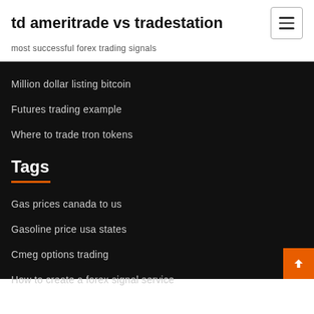td ameritrade vs tradestation
most successful forex trading signals
Million dollar listing bitcoin
Futures trading example
Where to trade tron tokens
Tags
Gas prices canada to us
Gasoline price usa states
Cmeg options trading
How to create a forex signal service